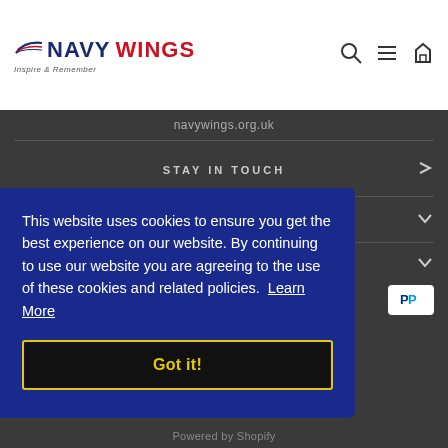[Figure (logo): Navy Wings logo with swoosh, blue NAVY and red WINGS text, tagline Inspire & Remember]
navywings.org.uk
STAY IN TOUCH
This website uses cookies to ensure you get the best experience on our website. By continuing to use our website you are agreeing to the use of these cookies and related policies. Learn More
Got it!
Powered by Shopify